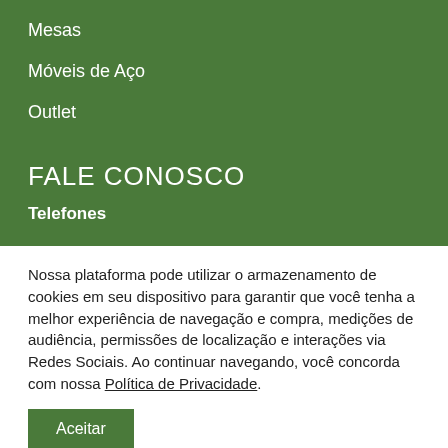Mesas
Móveis de Aço
Outlet
FALE CONOSCO
Telefones
Nossa plataforma pode utilizar o armazenamento de cookies em seu dispositivo para garantir que você tenha a melhor experiência de navegação e compra, medições de audiência, permissões de localização e interações via Redes Sociais. Ao continuar navegando, você concorda com nossa Política de Privacidade.
Aceitar